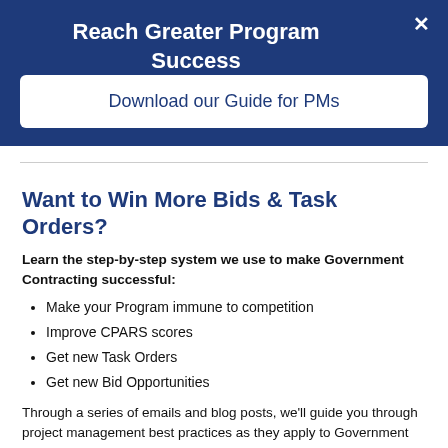Reach Greater Program Success
Download our Guide for PMs
Want to Win More Bids & Task Orders?
Learn the step-by-step system we use to make Government Contracting successful:
Make your Program immune to competition
Improve CPARS scores
Get new Task Orders
Get new Bid Opportunities
Through a series of emails and blog posts, we'll guide you through project management best practices as they apply to Government Contracting and help you succeed.